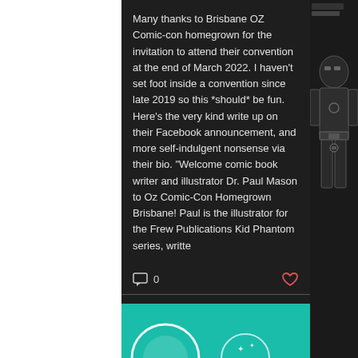Many thanks to Brisbane OZ Comic-con homegrown for the invitation to attend their convention at the end of March 2022. I haven't set foot inside a convention since late 2019 so this *should* be fun. Here's the very kind write up on their Facebook announcement, and more self-indulgent nonsense via their bio. "Welcome comic book writer and illustrator Dr. Paul Mason to Oz Comic-Con Homegrown Brisbane! Paul is the illustrator for the Frew Publications Kid Phantom series, writte
[Figure (illustration): Comic book style illustration of a masked/armored superhero figure in dark tones on the right sidebar]
[Figure (illustration): Teal/turquoise colored block section at the bottom with partial circular logo elements visible]